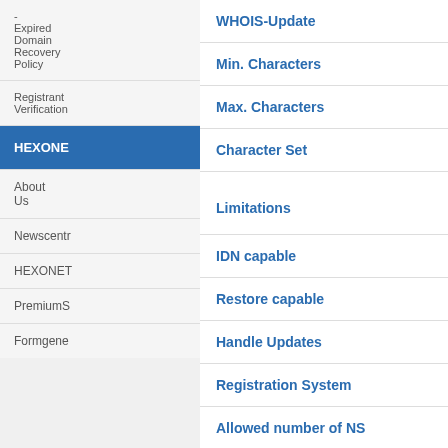- Expired Domain Recovery Policy
Registrant Verification
HEXONE (active)
About Us
Newscentre
HEXONET
PremiumS
Formgene
WHOIS-Update
Min. Characters
Max. Characters
Character Set
Limitations
IDN capable
Restore capable
Handle Updates
Registration System
Allowed number of NS